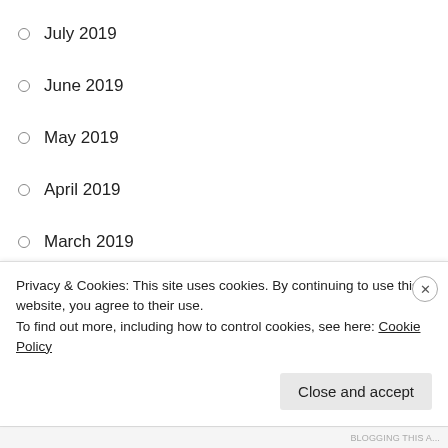July 2019
June 2019
May 2019
April 2019
March 2019
February 2019
January 2019
December 2018
November 2018
October 2018
September 2018
August 2018
Privacy & Cookies: This site uses cookies. By continuing to use this website, you agree to their use.
To find out more, including how to control cookies, see here: Cookie Policy
Close and accept